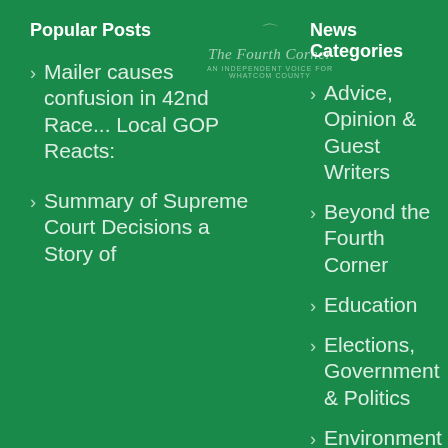Popular Posts
[Figure (logo): The Fourth Corner logo — italic script text with tagline 'An independent voice for Whatcom County' and a small bird silhouette]
News Categories
Mailer causes confusion in 42nd Race... Local GOP Reacts:
Summary of Supreme Court Decisions a Story of
Advice, Opinion & Guest Writers
Beyond the Fourth Corner
Education
Elections, Government & Politics
Environment and Climate